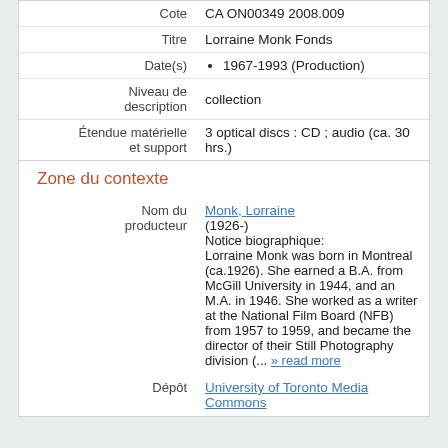| Cote | CA ON00349 2008.009 |
| Titre | Lorraine Monk Fonds |
| Date(s) | 1967-1993 (Production) |
| Niveau de description | collection |
| Étendue matérielle et support | 3 optical discs : CD ; audio (ca. 30 hrs.) |
Zone du contexte
| Nom du producteur | Monk, Lorraine
(1926-)
Notice biographique:
Lorraine Monk was born in Montreal (ca.1926). She earned a B.A. from McGill University in 1944, and an M.A. in 1946. She worked as a writer at the National Film Board (NFB) from 1957 to 1959, and became the director of their Still Photography division (... » read more |
| Dépôt | University of Toronto Media Commons |